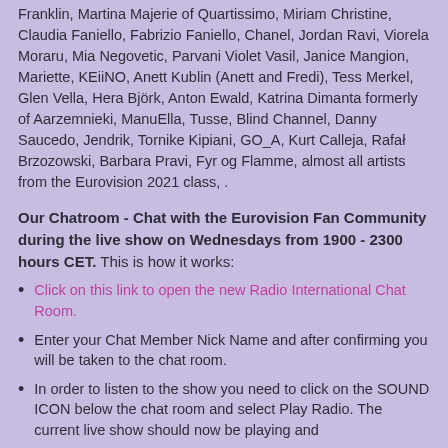Franklin, Martina Majerie of Quartissimo, Miriam Christine, Claudia Faniello, Fabrizio Faniello, Chanel, Jordan Ravi, Viorela Moraru, Mia Negovetic, Parvani Violet Vasil, Janice Mangion, Mariette, KEiiNO, Anett Kublin (Anett and Fredi), Tess Merkel, Glen Vella, Hera Björk, Anton Ewald, Katrina Dimanta formerly of Aarzemnieki, ManuElla, Tusse, Blind Channel, Danny Saucedo, Jendrik, Tornike Kipiani, GO_A, Kurt Calleja, Rafał Brzozowski, Barbara Pravi, Fyr og Flamme, almost all artists from the Eurovision 2021 class, .
Our Chatroom - Chat with the Eurovision Fan Community during the live show on Wednesdays from 1900 - 2300 hours CET. This is how it works:
Click on this link to open the new Radio International Chat Room.
Enter your Chat Member Nick Name and after confirming you will be taken to the chat room.
In order to listen to the show you need to click on the SOUND ICON below the chat room and select Play Radio. The current live show should now be playing and
Start chatting while listening to the show.